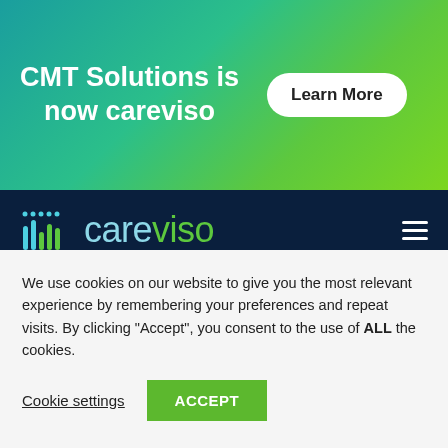[Figure (infographic): Gradient banner with text 'CMT Solutions is now careviso' and a 'Learn More' button on teal-to-green gradient background]
[Figure (logo): careviso logo with bar graph icon in teal/green on dark navy background, with hamburger menu icon]
F: 301-576-6888
info@careviso.com
Resources
We use cookies on our website to give you the most relevant experience by remembering your preferences and repeat visits. By clicking “Accept”, you consent to the use of ALL the cookies.
Cookie settings
ACCEPT